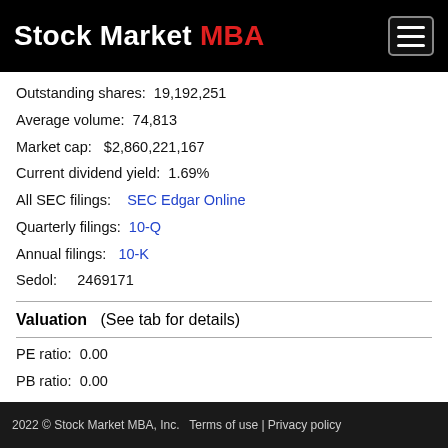Stock Market MBA
Outstanding shares:  19,192,251
Average volume:  74,813
Market cap:   $2,860,221,167
Current dividend yield:  1.69%
All SEC filings:    SEC Edgar Online
Quarterly filings:  10-Q
Annual filings:   10-K
Sedol:     2469171
Valuation   (See tab for details)
PE ratio:  0.00
PB ratio:  0.00
PS ratio:  2.29
Return on equity:   7.31%
Net income %:   4.98%
2022 © Stock Market MBA, Inc.   Terms of use | Privacy policy